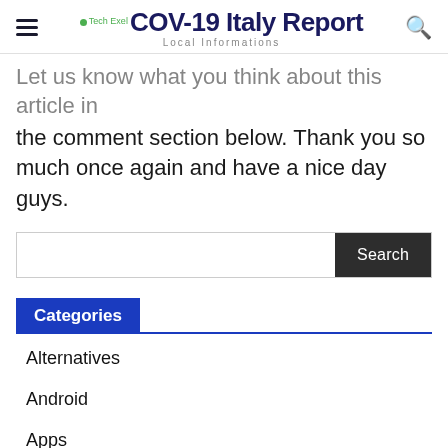Tech Exel COV-19 Italy Report — Local Informations
Let us know what you think about this article in the comment section below. Thank you so much once again and have a nice day guys.
Search bar
Categories
Alternatives
Android
Apps
Browser
Business